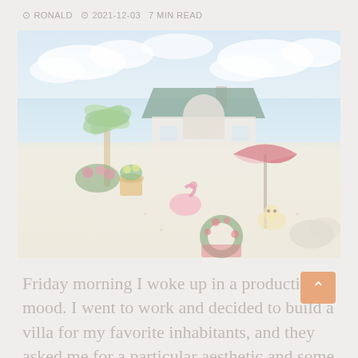RONALD  2021-12-03  7 MIN READ
[Figure (photo): Animal Crossing style illustration showing a beach villa scene with a house featuring a green roof, palm trees, a red and white beach umbrella, a pink flamingo float, a wreath decoration, sandbox toys, and a sandy beachfront with blue sky and clouds.]
Friday morning I woke up in a productive mood. I went to work and decided to build a villa for my favorite inhabitants, and they asked me for a particular aesthetic and some furniture that they would love in their home.